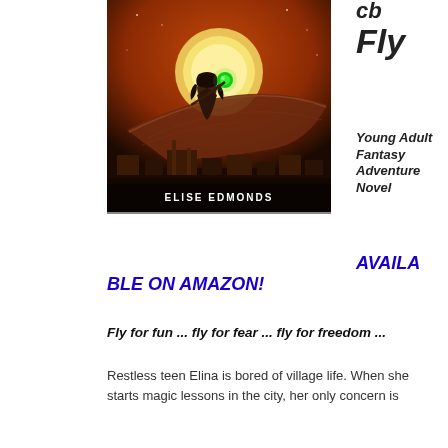[Figure (illustration): Book cover for 'Fly' by Elise Edmonds showing a young woman riding a magic carpet against a glowing moon and orange sky backdrop, with desert cityscape below. Author name 'ELISE EDMONDS' displayed at bottom of cover.]
Fly
Young Adult Fantasy Adventure Novel
AVAILABLE ON AMAZON!
Fly for fun ... fly for fear ... fly for freedom ...
Restless teen Elina is bored of village life. When she starts magic lessons in the city, her only concern is